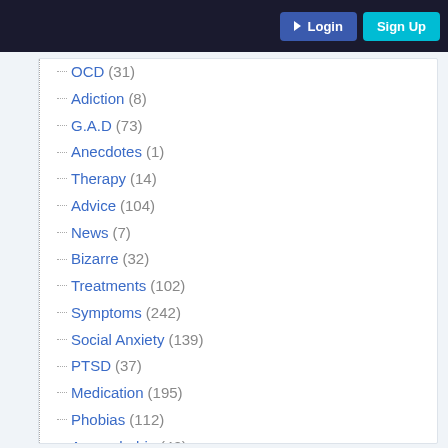Login | Sign Up
OCD (31)
Adiction (8)
G.A.D (73)
Anecdotes (1)
Therapy (14)
Advice (104)
News (7)
Bizarre (32)
Treatments (102)
Symptoms (242)
Social Anxiety (139)
PTSD (37)
Medication (195)
Phobias (112)
Agoraphobia (42)
Depression (120)